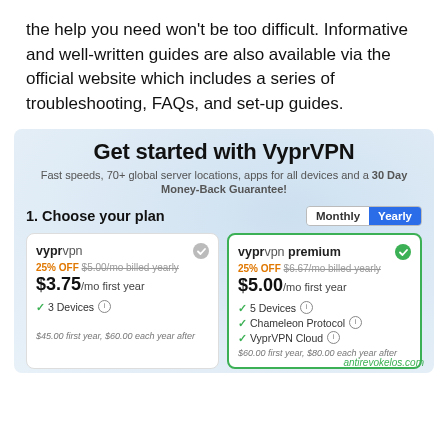the help you need won't be too difficult. Informative and well-written guides are also available via the official website which includes a series of troubleshooting, FAQs, and set-up guides.
[Figure (screenshot): VyprVPN pricing page showing 'Get started with VyprVPN' with plan options: VyprVPN at $3.75/mo and VyprVPN Premium at $5.00/mo, with Monthly/Yearly toggle and feature lists.]
antirevokelos.com